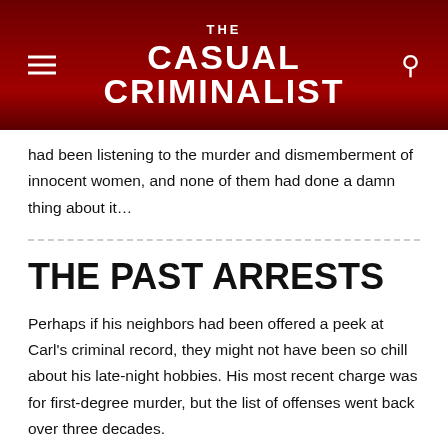THE CASUAL CRIMINALIST
had been listening to the murder and dismemberment of innocent women, and none of them had done a damn thing about it…
THE PAST ARRESTS
Perhaps if his neighbors had been offered a peek at Carl's criminal record, they might not have been so chill about his late-night hobbies. His most recent charge was for first-degree murder, but the list of offenses went back over three decades.
It started with a short jail sentence for begging, and then took a bizarre turn when he was arrested for an… indecent act with a sheep in 1896. [I know you want me to make a joke about the Welsh